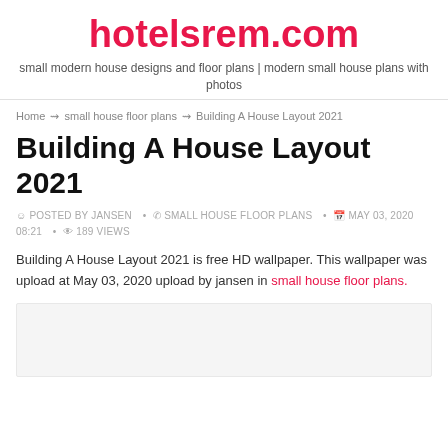hotelsrem.com
small modern house designs and floor plans | modern small house plans with photos
Home ⇝ small house floor plans ⇝ Building A House Layout 2021
Building A House Layout 2021
POSTED BY JANSEN • SMALL HOUSE FLOOR PLANS • MAY 03, 2020 08:21 • 189 Views
Building A House Layout 2021 is free HD wallpaper. This wallpaper was upload at May 03, 2020 upload by jansen in small house floor plans.
[Figure (photo): Gray placeholder area representing an image of a house layout]